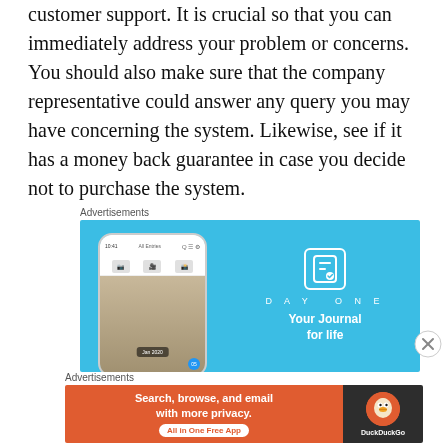customer support. It is crucial so that you can immediately address your problem or concerns. You should also make sure that the company representative could answer any query you may have concerning the system. Likewise, see if it has a money back guarantee in case you decide not to purchase the system.
Advertisements
[Figure (screenshot): DayOne app advertisement showing a phone mockup with the app interface on the left and DayOne branding with 'Your Journal for life' text on a blue background on the right.]
[Figure (other): Close/dismiss button (X in circle) on the right side]
Advertisements
[Figure (screenshot): DuckDuckGo advertisement: orange left panel with 'Search, browse, and email with more privacy. All in One Free App' and dark right panel with DuckDuckGo logo.]